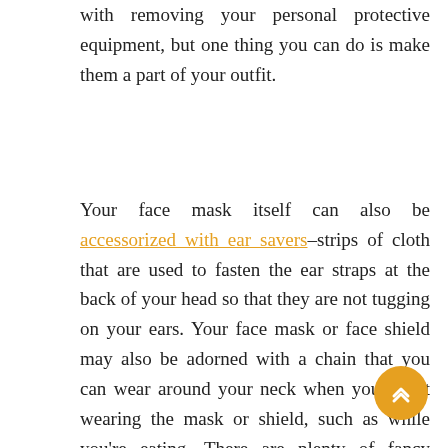with removing your personal protective equipment, but one thing you can do is make them a part of your outfit.
Your face mask itself can also be accessorized with ear savers–strips of cloth that are used to fasten the ear straps at the back of your head so that they are not tugging on your ears. Your face mask or face shield may also be adorned with a chain that you can wear around your neck when you're not wearing the mask or shield, such as while you're eating. There are plenty of fancy designs for the chain already. Feel free to go as extravagant or as simple depending on your outfit or personality.